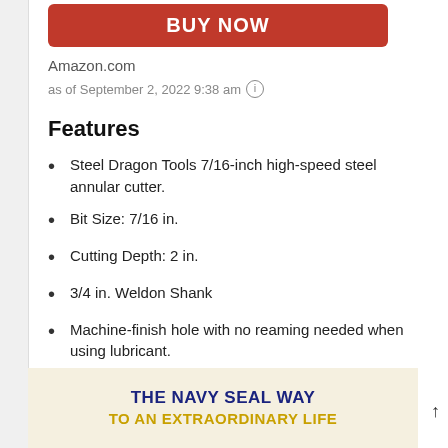[Figure (other): Red BUY NOW button]
Amazon.com
as of September 2, 2022 9:38 am ℹ
Features
Steel Dragon Tools 7/16-inch high-speed steel annular cutter.
Bit Size: 7/16 in.
Cutting Depth: 2 in.
3/4 in. Weldon Shank
Machine-finish hole with no reaming needed when using lubricant.
[Figure (illustration): Advertisement banner: THE NAVY SEAL WAY TO AN EXTRAORDINARY LIFE]